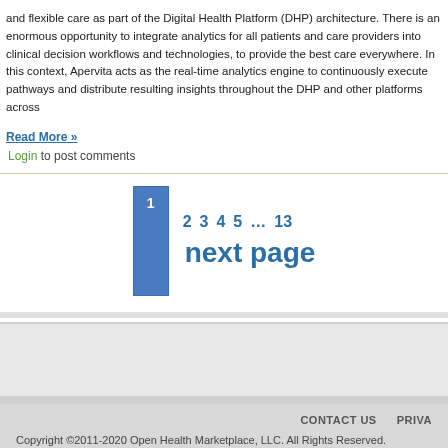and flexible care as part of the Digital Health Platform (DHP) architecture. There is an enormous opportunity to integrate analytics for all patients and care providers into clinical decision workflows and technologies, to provide the best care everywhere. In this context, Apervita acts as the real-time analytics engine to continuously execute pathways and distribute resulting insights throughout the DHP and other platforms across
Read More »
Login to post comments
1  2  3  4  5  ...  13  next page
CONTACT US    PRIVA
Copyright ©2011-2020 Open Health Marketplace, LLC. All Rights Reserved.